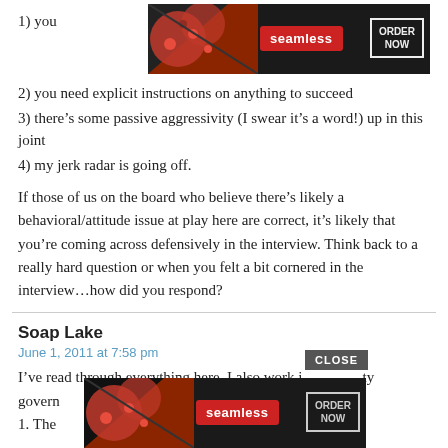[Figure (screenshot): Seamless pizza advertisement banner at top right with 'ORDER NOW' button]
1) you
2) you need explicit instructions on anything to succeed
3) there’s some passive aggressivity (I swear it’s a word!) up in this joint
4) my jerk radar is going off.
If those of us on the board who believe there’s likely a behavioral/attitude issue at play here are correct, it’s likely that you’re coming across defensively in the interview. Think back to a really hard question or when you felt a bit cornered in the interview…how did you respond?
Soap Lake
June 1, 2011 at 7:58 pm
I’ve read through everything here. I also work i ty govern 1. The ey’ve
[Figure (screenshot): Seamless pizza advertisement banner at bottom with CLOSE button and 'ORDER NOW']